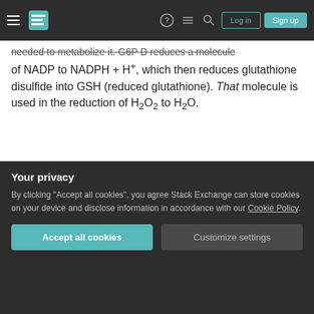Navigation bar with hamburger menu, logo, help, comments, search icons, Log in and Sign up buttons
needed to metabolize it. G6P D reduces a molecule of NADP to NADPH + H⁺, which then reduces glutathione disulfide into GSH (reduced glutathione). That molecule is used in the reduction of H₂O₂ to H₂O.
[Figure (flowchart): Biochemical pathway diagram showing: Drug + Oxyhemoglobin and O₂ at top left/right, with arrow via superoxide dismutase producing H₂O₂, then via glutathione peroxidase converting Glutathione (GSH) to Glutathione disulfide (GSSG) and producing H₂O. NADPH + H⁺ shown at bottom right.]
Your privacy
By clicking "Accept all cookies", you agree Stack Exchange can store cookies on your device and disclose information in accordance with our Cookie Policy.
Accept all cookies
Customize settings